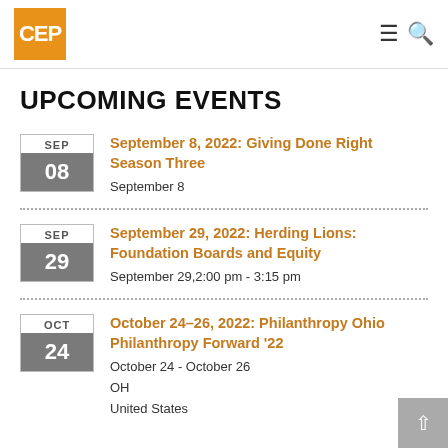CEP
UPCOMING EVENTS
September 8, 2022: Giving Done Right Season Three | September 8
September 29, 2022: Herding Lions: Foundation Boards and Equity | September 29, 2:00 pm - 3:15 pm
October 24-26, 2022: Philanthropy Ohio Philanthropy Forward '22 | October 24 - October 26 | OH | United States